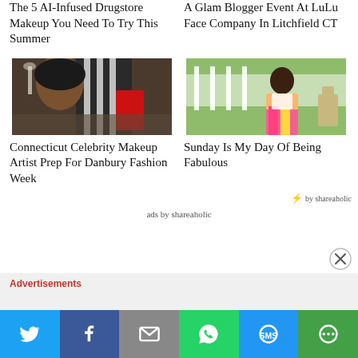The 5 AI-Infused Drugstore Makeup You Need To Try This Summer
A Glam Blogger Event At LuLu Face Company In Litchfield CT
[Figure (photo): Woman in black and white zebra print jacket holding red shopping bag at a table]
[Figure (photo): Woman in colorful pink and yellow patterned outfit standing on a porch or deck]
Connecticut Celebrity Makeup Artist Prep For Danbury Fashion Week
Sunday Is My Day Of Being Fabulous
by shareaholic
ads by shareaholic
Advertisements